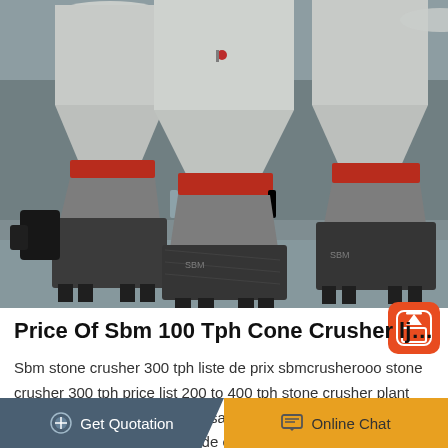[Figure (photo): Industrial warehouse interior showing multiple large cone crushers (mining/quarrying equipment) wrapped in protective plastic, with white upper cone sections and red-banded mid-sections, arranged on a factory floor.]
Price Of Sbm 100 Tph Cone Crusher ljsc...
Sbm stone crusher 300 tph liste de prix sbmcrusherooo stone crusher 300 tph price list 200 to 400 tph stone crusher plant 300 ton hr stone crushers for sale prix de 100 tph minerais de fer liste de prix obtenir de laide en…
Get Quotation   Online Chat